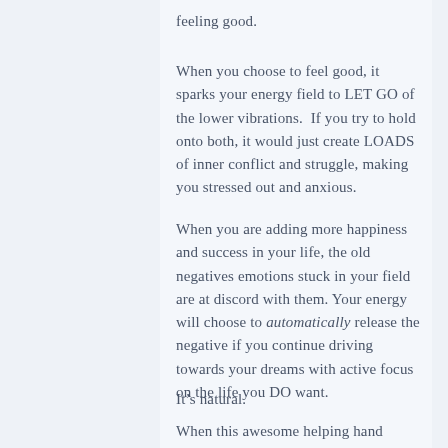feeling good.
When you choose to feel good, it sparks your energy field to LET GO of the lower vibrations.  If you try to hold onto both, it would just create LOADS of inner conflict and struggle, making you stressed out and anxious.
When you are adding more happiness and success in your life, the old negatives emotions stuck in your field are at discord with them. Your energy will choose to automatically release the negative if you continue driving towards your dreams with active focus on the life you DO want.
It’s natural.
When this awesome helping hand shows up